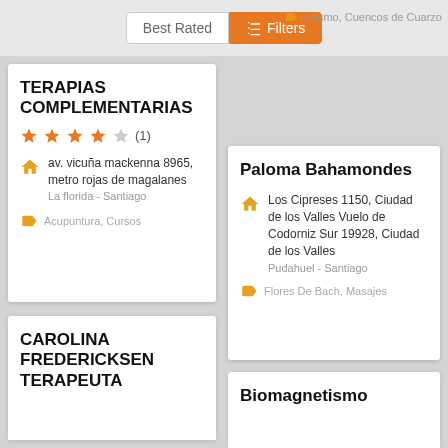Best Rated | Filters
Biomagnetismo, Cuencos de Cuarzo
TERAPIAS COMPLEMENTARIAS
★★★★☆ (1)
av. vicuña mackenna 8965, metro rojas de magalanes
La florida - Santiago
Acupuntura, Cursos
Paloma Bahamondes
Los Cipreses 1150, Ciudad de los Valles Vuelo de Codorniz Sur 19928, Ciudad de los Valles
Pudahuel - Santiago
Flores De Bach, Masajes
CAROLINA FREDERICKSEN TERAPEUTA
Biomagnetismo